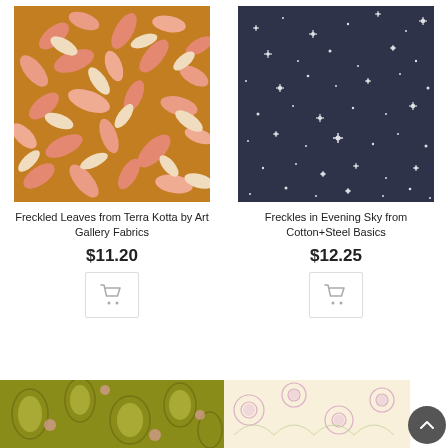[Figure (photo): Freckled Leaves fabric pattern on orange/golden background with pink and cream leaf shapes]
Freckled Leaves from Terra Kotta by Art Gallery Fabrics
$11.20
[Figure (illustration): Shopping cart icon in a square button]
[Figure (photo): Freckles in Evening Sky fabric pattern - dark navy background with scattered white star/sparkle shapes]
Freckles in Evening Sky from Cotton+Steel Basics
$12.25
[Figure (illustration): Shopping cart icon in a square button]
[Figure (photo): Olive green fabric with floral pattern (partially visible at bottom)]
[Figure (photo): Light pastel fabric with floral pattern (partially visible at bottom)]